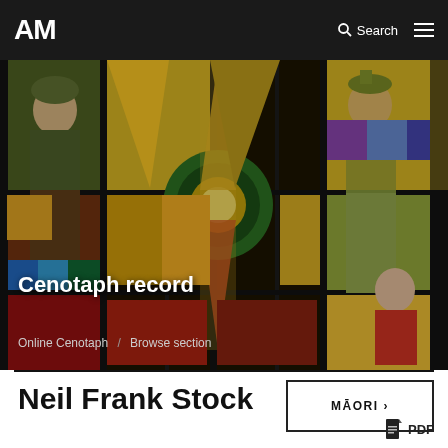AM   Search  ≡
[Figure (photo): Stained glass window artwork depicting military figures and a central wreath/sun motif in colorful mosaic glass panels]
Cenotaph record
Online Cenotaph / Browse section
Neil Frank Stock
MĀORI ›
PDF